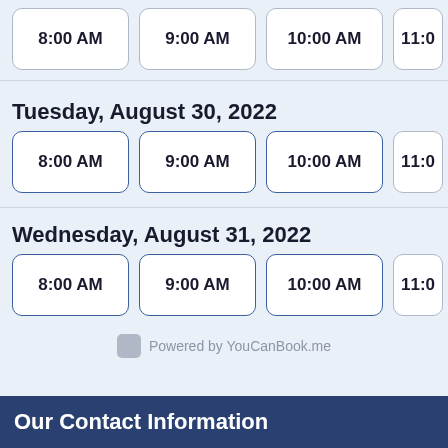8:00 AM  9:00 AM  10:00 AM  11:0...
Tuesday, August 30, 2022
8:00 AM  9:00 AM  10:00 AM  11:0...
Wednesday, August 31, 2022
8:00 AM  9:00 AM  10:00 AM  11:0...
Powered by YouCanBook.me
Our Contact Information